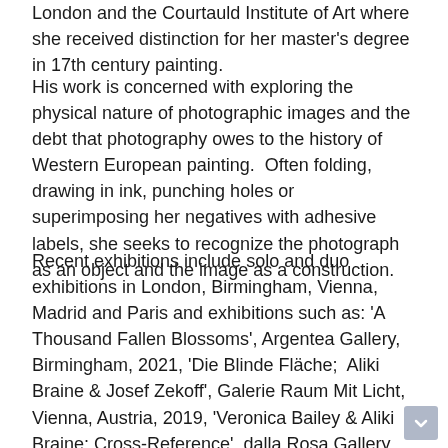London and the Courtauld Institute of Art where she received distinction for her master's degree in 17th century painting.
His work is concerned with exploring the physical nature of photographic images and the debt that photography owes to the history of Western European painting.  Often folding, drawing in ink, punching holes or superimposing her negatives with adhesive labels, she seeks to recognize the photograph as an object and the image as a construction.
Recent exhibitions include solo and duo exhibitions in London, Birmingham, Vienna, Madrid and Paris and exhibitions such as: 'A Thousand Fallen Blossoms', Argentea Gallery, Birmingham, 2021, 'Die Blinde Fläche;  Aliki Braine & Josef Zekoff', Galerie Raum Mit Licht, Vienna, Austria, 2019, 'Veronica Bailey & Aliki Braine: Cross-Reference', dalla Rosa Gallery, London, 2018, 'Evidences du Réel', Musée d'Art de Pully , Lausanne, 2017, 'Material Light', Kulturni Centar, Belgrade, Serbia, 2015 and 'On the (im)possibility of a pure praise poem', Man & Eve Gallery, London, 2013.